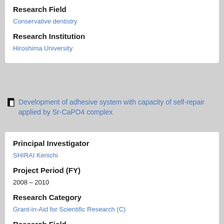Research Field
Conservative dentistry
Research Institution
Hiroshima University
Development of adhesive system with capacity of self-repair applied by Sr-CaPO4 complex
Principal Investigator
SHIRAI Kenichi
Project Period (FY)
2008 – 2010
Research Category
Grant-in-Aid for Scientific Research (C)
Research Field